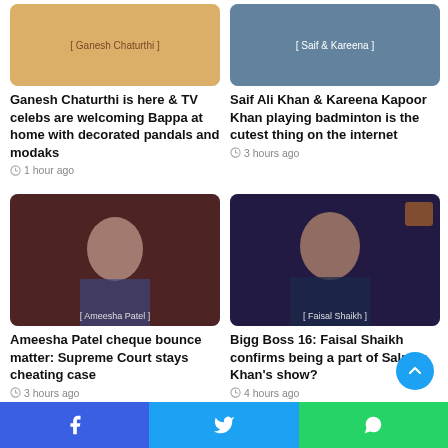[Figure (photo): TV celebrities welcoming Ganesh Bappa at home]
[Figure (photo): Saif Ali Khan and Kareena Kapoor Khan playing badminton]
Ganesh Chaturthi is here & TV celebs are welcoming Bappa at home with decorated pandals and modaks
1 hour ago
Saif Ali Khan & Kareena Kapoor Khan playing badminton is the cutest thing on the internet
3 hours ago
[Figure (photo): Ameesha Patel photo]
[Figure (photo): Faisal Shaikh photo]
Ameesha Patel cheque bounce matter: Supreme Court stays cheating case
3 hours ago
Bigg Boss 16: Faisal Shaikh confirms being a part of Salman Khan's show?
4 hours ago